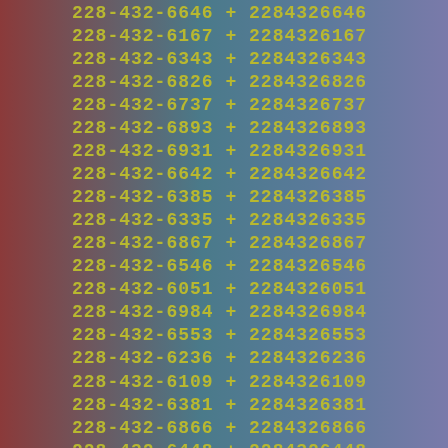228-432-6646 + 2284326646
228-432-6167 + 2284326167
228-432-6343 + 2284326343
228-432-6826 + 2284326826
228-432-6737 + 2284326737
228-432-6893 + 2284326893
228-432-6931 + 2284326931
228-432-6642 + 2284326642
228-432-6385 + 2284326385
228-432-6335 + 2284326335
228-432-6867 + 2284326867
228-432-6546 + 2284326546
228-432-6051 + 2284326051
228-432-6984 + 2284326984
228-432-6553 + 2284326553
228-432-6236 + 2284326236
228-432-6109 + 2284326109
228-432-6381 + 2284326381
228-432-6866 + 2284326866
228-432-6448 + 2284326448
228-432-6770 + 2284326770
228-432-6386 + 2284326386
228-432-6221 + 2284326221